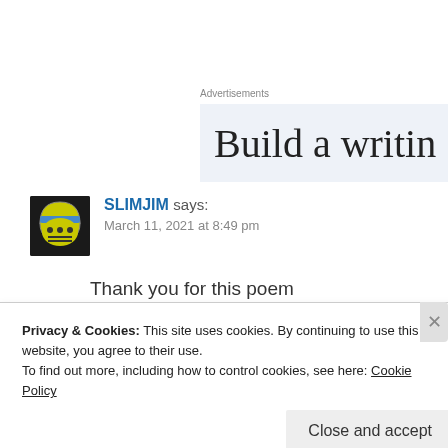Advertisements
[Figure (other): Advertisement banner with text 'Build a writin' (truncated) on light blue background]
SLIMJIM says: March 11, 2021 at 8:49 pm
Thank you for this poem
Privacy & Cookies: This site uses cookies. By continuing to use this website, you agree to their use. To find out more, including how to control cookies, see here: Cookie Policy